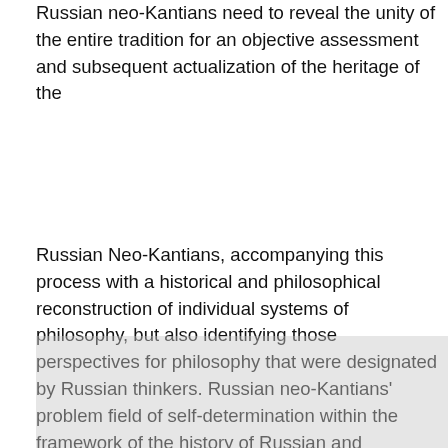Russian neo-Kantians need to reveal the unity of the entire tradition for an objective assessment and subsequent actualization of the heritage of the
Russian Neo-Kantians, accompanying this process with a historical and philosophical reconstruction of individual systems of philosophy, but also identifying those perspectives for philosophy that were designated by Russian thinkers. Russian neo-Kantians' problem field of self-determination within the framework of the history of Russian and European philosophy is proposed in the content of the article. Special attention is focused on the unity of methodological tasks and the target reason for the